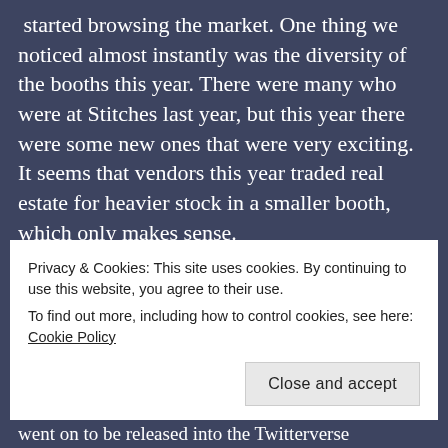started browsing the market. One thing we noticed almost instantly was the diversity of the booths this year. There were many who were at Stitches last year, but this year there were some new ones that were very exciting. It seems that vendors this year traded real estate for heavier stock in a smaller booth, which only makes sense.
For fear of crossing WAY into the territory of the Teal Deer, I'll make a list of highlights.
Meeting Dawn (Tatmia) and Rebecca
Privacy & Cookies: This site uses cookies. By continuing to use this website, you agree to their use.
To find out more, including how to control cookies, see here: Cookie Policy
went on to be released into the Twitterverse